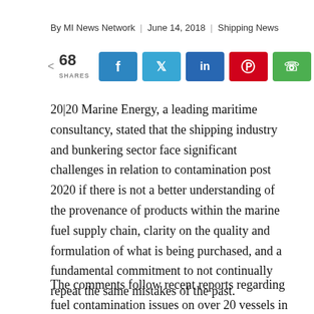By MI News Network  |  June 14, 2018  |  Shipping News
[Figure (infographic): Social share bar showing 68 shares and five social media buttons: Facebook (f), Twitter (bird), LinkedIn (in), Pinterest (P), WhatsApp (phone)]
20|20 Marine Energy, a leading maritime consultancy, stated that the shipping industry and bunkering sector face significant challenges in relation to contamination post 2020 if there is not a better understanding of the provenance of products within the marine fuel supply chain, clarity on the quality and formulation of what is being purchased, and a fundamental commitment to not continually repeat the same mistakes of the past.
The comments follow recent reports regarding fuel contamination issues on over 20 vessels in the